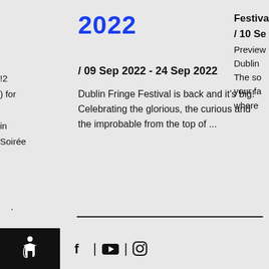2022
Festival
/ 10 Se
Preview
Dublin
The so
your fa
where
/ 09 Sep 2022 - 24 Sep 2022
Dublin Fringe Festival is back and it's big!  Celebrating the glorious, the curious and the improbable from the top of ...
!2
) for
in
Soirée
.
Accessibility icon | Facebook | YouTube | Instagram